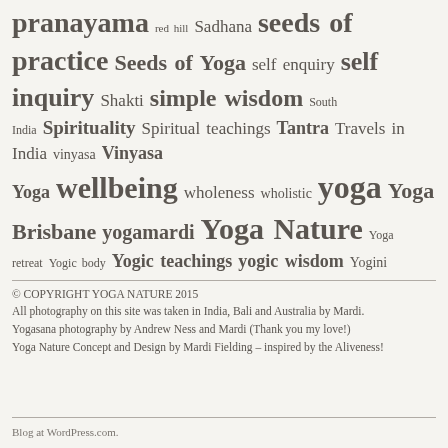pranayama red hill Sadhana seeds of practice Seeds of Yoga self enquiry self inquiry Shakti simple wisdom South India Spirituality Spiritual teachings Tantra Travels in India vinyasa Vinyasa Yoga wellbeing wholeness wholistic yoga Yoga Brisbane yogamardi Yoga Nature Yoga retreat Yogic body Yogic teachings yogic wisdom Yogini
© COPYRIGHT YOGA NATURE 2015
All photography on this site was taken in India, Bali and Australia by Mardi.
Yogasana photography by Andrew Ness and Mardi (Thank you my love!)
Yoga Nature Concept and Design by Mardi Fielding – inspired by the Aliveness!
Blog at WordPress.com.